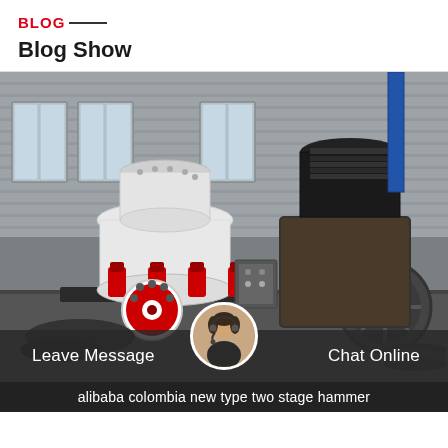BLOG
Blog Show
[Figure (photo): Industrial machinery photo showing two large crushing/grinding machines in a factory/warehouse setting. Left machine is white with red hydraulic cylinders and a circular red-and-white flange visible at the bottom. Right machine is dark/black with a large pulley wheel. Factory background with corrugated metal walls and windows.]
Leave Message
Chat Online
alibaba colombia new type two stage hammer